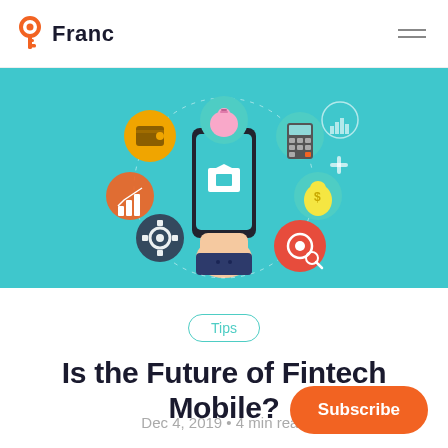Franc
[Figure (illustration): Fintech mobile illustration on teal background: hand holding smartphone with bank icon, surrounded by circular icons for wallet, piggy bank, calculator, chart, coin bag, camera, settings gear, and bar chart connected by dotted lines.]
Tips
Is the Future of Fintech Mobile?
Dec 4, 2019 • 4 min read